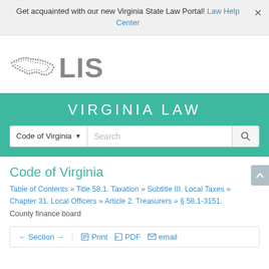Get acquainted with our new Virginia State Law Portal! Law Help Center
[Figure (logo): Virginia LIS logo — pixelated outline of Virginia state map in grey followed by bold 'LIS' text in grey]
VIRGINIA LAW
Code of Virginia ▼  Search
Code of Virginia
Table of Contents » Title 58.1. Taxation » Subtitle III. Local Taxes » Chapter 31. Local Officers » Article 2. Treasurers » § 58.1-3151. County finance board
← Section →  Print  PDF  email